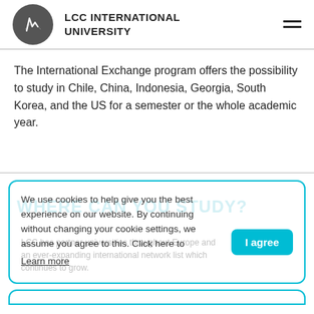LCC INTERNATIONAL UNIVERSITY
The International Exchange program offers the possibility to study in Chile, China, Indonesia, Georgia, South Korea, and the US for a semester or the whole academic year.
We use cookies to help give you the best experience on our website. By continuing without changing your cookie settings, we assume you agree to this. Click here to Learn more